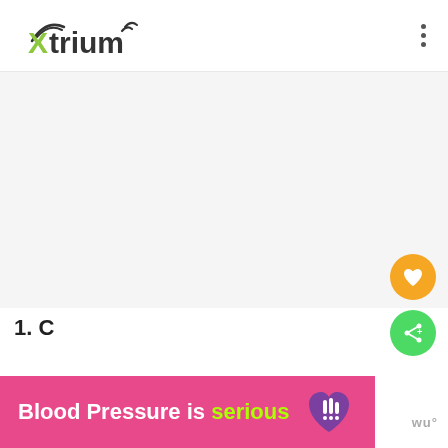[Figure (logo): Xtrium logo with wireless signal arc and text in green and black]
[Figure (other): Three vertical dots menu icon]
[Figure (other): Large white/light grey empty content area]
[Figure (other): Orange circular FAB button with white heart icon]
[Figure (other): Green circular FAB button with white share/add icon]
1. C...
[Figure (infographic): Pink/magenta ad banner reading Blood Pressure is serious with a purple heart with lightning bolt icon]
wu°